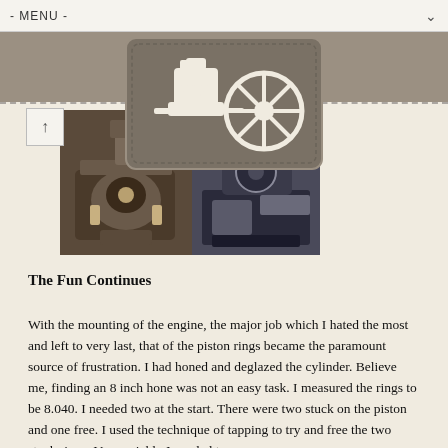- MENU -
[Figure (logo): Engine/compressor logo badge with the number 212, depicted in white on a dark taupe textured rectangular background]
[Figure (photo): Two side-by-side photographs of an antique engine or machinery being worked on]
The Fun Continues
With the mounting of the engine, the major job which I hated the most and left to very last, that of the piston rings became the paramount source of frustration. I had honed and deglazed the cylinder. Believe me, finding an 8 inch hone was not an easy task. I measured the rings to be 8.040. I needed two at the start. There were two stuck on the piston and one free. I used the technique of tapping to try and free the two stuck rings. Very quickly I needed two